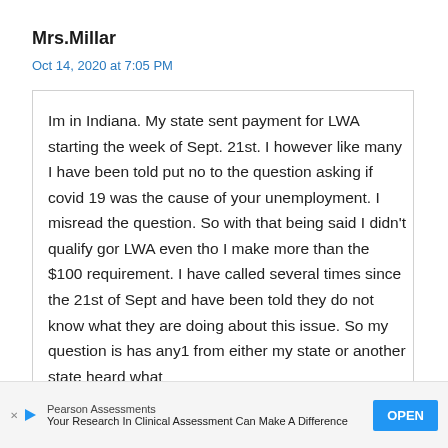Mrs.Millar
Oct 14, 2020 at 7:05 PM
Im in Indiana. My state sent payment for LWA starting the week of Sept. 21st. I however like many I have been told put no to the question asking if covid 19 was the cause of your unemployment. I misread the question. So with that being said I didn't qualify gor LWA even tho I make more than the $100 requirement. I have called several times since the 21st of Sept and have been told they do not know what they are doing about this issue. So my question is has any1 from either my state or another state heard what
Pearson Assessments Your Research In Clinical Assessment Can Make A Difference